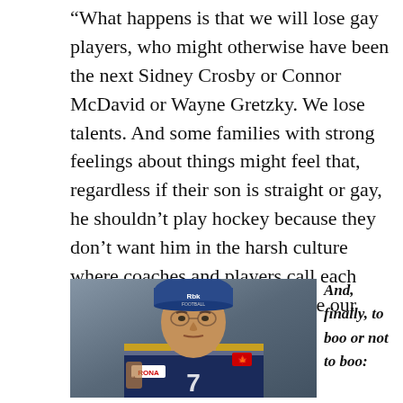“What happens is that we will lose gay players, who might otherwise have been the next Sidney Crosby or Connor McDavid or Wayne Gretzky. We lose talents. And some families with strong feelings about things might feel that, regardless if their son is straight or gay, he shouldn’t play hockey because they don’t want him in the harsh culture where coaches and players call each other all sorts of things. We lose our pride in hockey.”
[Figure (photo): A man wearing a navy blue CFL football jersey with a Reebok cap, standing on a field. Jersey has RONA sponsor patch and number 7.]
And, finally, to boo or not to boo: